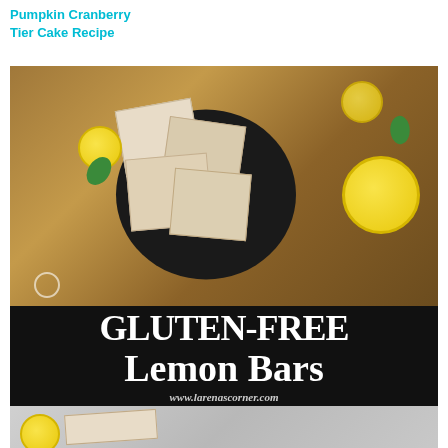Pumpkin Cranberry Tier Cake Recipe
[Figure (photo): Top-down view of gluten-free lemon bars dusted with powdered sugar on a black plate, surrounded by lemon slices and mint leaves on a wooden board, with a banner overlay reading GLUTEN-FREE Lemon Bars and www.larenascorner.com]
GLUTEN-FREE Lemon Bars — www.larenascorner.com